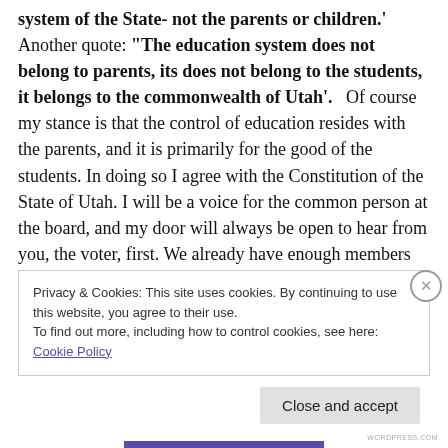system of the State- not the parents or children.' Another quote: "The education system does not belong to parents, its does not belong to the students, it belongs to the commonwealth of Utah'.   Of course my stance is that the control of education resides with the parents, and it is primarily for the good of the students. In doing so I agree with the Constitution of the State of Utah. I will be a voice for the common person at the board, and my door will always be open to hear from you, the voter, first. We already have enough members listening to the special interests."
Privacy & Cookies: This site uses cookies. By continuing to use this website, you agree to their use. To find out more, including how to control cookies, see here: Cookie Policy